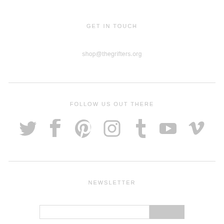GET IN TOUCH
shop@thegrifters.org
FOLLOW US OUT THERE
[Figure (infographic): Row of 7 social media icons (Twitter, Facebook, Pinterest, Instagram, Tumblr, YouTube, Vimeo) in light grey]
NEWSLETTER
[Figure (other): Newsletter email input field with a grey submit button]